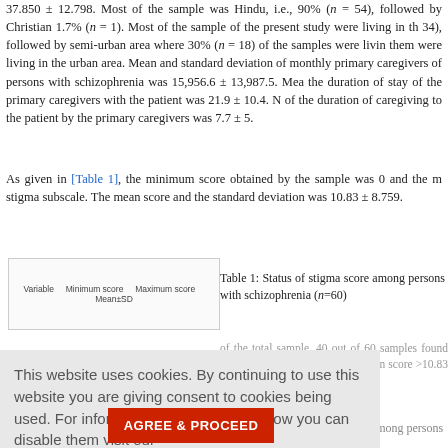37.850 ± 12.798. Most of the sample was Hindu, i.e., 90% (n = 54), followed by Christian 1.7% (n = 1). Most of the sample of the present study were living in the rural area (n = 34), followed by semi-urban area where 30% (n = 18) of the samples were living, and 13.3% of them were living in the urban area. Mean and standard deviation of monthly income of the primary caregivers of persons with schizophrenia was 15,956.6 ± 13,987.5. Mean and SD of the duration of stay of the primary caregivers with the patient was 21.9 ± 10.4. Mean and SD of the duration of caregiving to the patient by the primary caregivers was 7.7 ± 5.
As given in [Table 1], the minimum score obtained by the sample was 0 and the maximum stigma subscale. The mean score and the standard deviation was 10.83 ± 8.759.
Table 1: Status of stigma score among persons with schizophrenia (n=60)
[Figure (table-as-image): Thumbnail of Table 1 showing Variable, Minimum score, Maximum score, Mean±SD columns]
of the total sample, 40 out of 60 samples found had a stigma score < mean score >10.83 of the mean score
Table 2: Distribution of stigma among persons with schizophrenia (n=60)
This website uses cookies. By continuing to use this website you are giving consent to cookies being used. For information on cookies and how you can disable them visit our Privacy and Cookie Policy.
AGREE & PROCEED